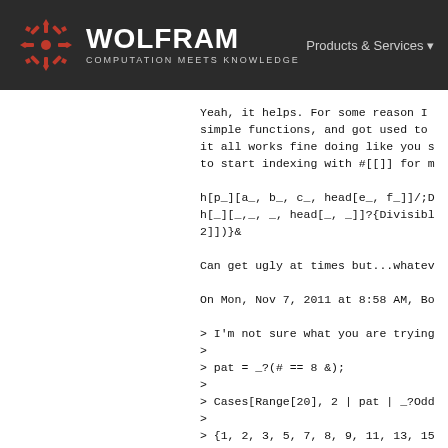WOLFRAM COMPUTATION MEETS KNOWLEDGE | Products & Services
Yeah, it helps. For some reason I simple functions, and got used to it all works fine doing like you s to start indexing with #[[]] for m

h[p_][a_, b_, c_, head[e_, f_]]/;D h[_][_,_, _, head[_, _]]?{Divisib 2]])&

Can get ugly at times but...whatev

On Mon, Nov 7, 2011 at 8:58 AM, Bo

> I'm not sure what you are trying >
> pat = _?(# == 8 &);
>
> Cases[Range[20], 2 | pat | _?Odd >
> {1, 2, 3, 5, 7, 8, 9, 11, 13, 15 >
>
> Bob Hanlon